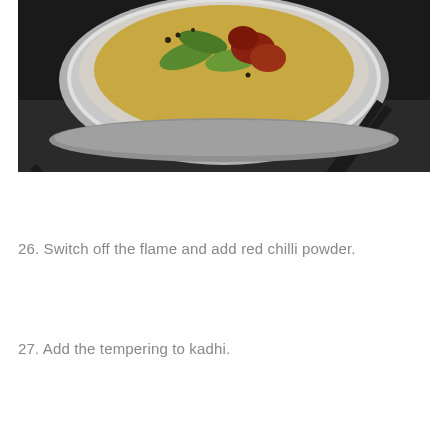[Figure (photo): A top-down view of a stainless steel pan or wok on a gas stove, containing sautéed green chilies, red tomatoes or dried red chilies, and spices in oil. Tongs are visible resting across the pan.]
26. Switch off the flame and add red chilli powder.
27. Add the tempering to kadhi.